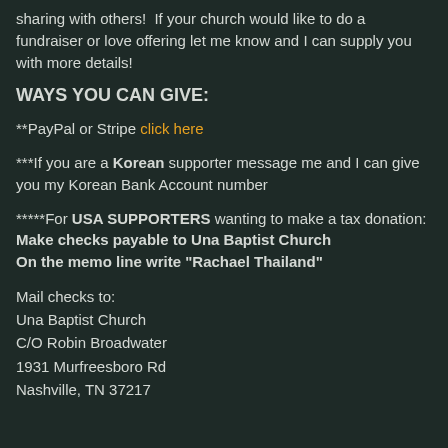sharing with others!  If your church would like to do a fundraiser or love offering let me know and I can supply you with more details!
WAYS YOU CAN GIVE:
**PayPal or Stripe click here
***If you are a Korean supporter message me and I can give you my Korean Bank Account number
*****For USA SUPPORTERS wanting to make a tax donation: Make checks payable to Una Baptist Church On the memo line write "Rachael Thailand"
Mail checks to:
Una Baptist Church
C/O Robin Broadwater
1931 Murfreesboro Rd
Nashville, TN 37217